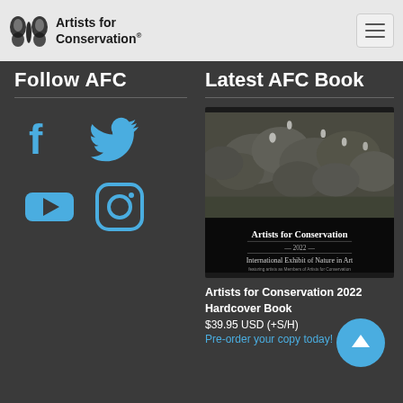Artists for Conservation
Follow AFC
[Figure (illustration): Social media icons: Facebook, Twitter, YouTube, Instagram in blue on dark background]
Latest AFC Book
[Figure (photo): Book cover showing a herd of elephants with egret birds, titled 'Artists for Conservation 2022 International Exhibit of Nature in Art']
Artists for Conservation 2022 Hardcover Book
$39.95 USD (+S/H)
Pre-order your copy today!